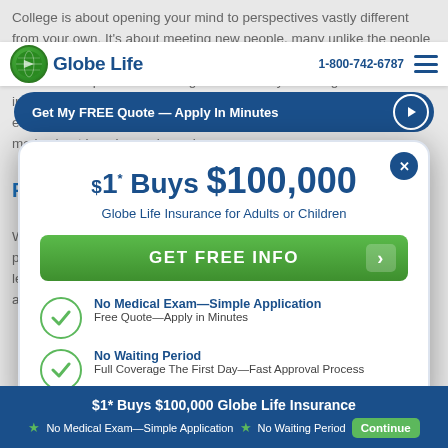College is about opening your mind to perspectives vastly different from your own. It's about meeting new people, many unlike the people you've grown up with and learning how to understand and exchange ideas. The experience of being at a university or college is an immersive and expansive one, where people from various cultural, economic, and religious backgrounds meet and exchange ideas. The experience of being away...
[Figure (logo): Globe Life logo with green globe icon and blue text]
1-800-742-6787
Get My FREE Quote — Apply In Minutes
$1* Buys $100,000
Globe Life Insurance for Adults or Children
GET FREE INFO
No Medical Exam—Simple Application
Free Quote—Apply in Minutes
No Waiting Period
Full Coverage The First Day—Fast Approval Process
$1* Buys $100,000 Globe Life Insurance ★ No Medical Exam—Simple Application ★ No Waiting Period Continue